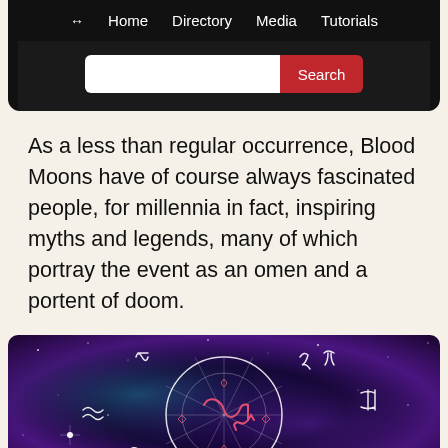↔  Home  Directory  Media  Tutorials
[Search bar with Search button]
As a less than regular occurrence, Blood Moons have of course always fascinated people, for millennia in fact, inspiring myths and legends, many of which portray the event as an omen and a portent of doom.
[Figure (photo): Zodiac wheel with astrological signs overlaid on a purple and blue cosmic nebula background with stars]